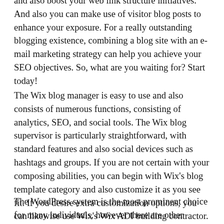and also boost your web link structure initiatives. And also you can make use of visitor blog posts to enhance your exposure. For a really outstanding blogging existence, combining a blog site with an e-mail marketing strategy can help you achieve your SEO objectives. So, what are you waiting for? Start today!
The Wix blog manager is easy to use and also consists of numerous functions, consisting of analytics, SEO, and social tools. The Wix blog supervisor is particularly straightforward, with standard features and also social devices such as hashtags and groups. If you are not certain with your composing abilities, you can begin with Wix's blog template category and also customize it as you see fit. If you desire extra customization options, you can likewise use Wix's Wix ADI building contractor.
The WordPress system is the most prominent choice for many individuals, however there are other choices as